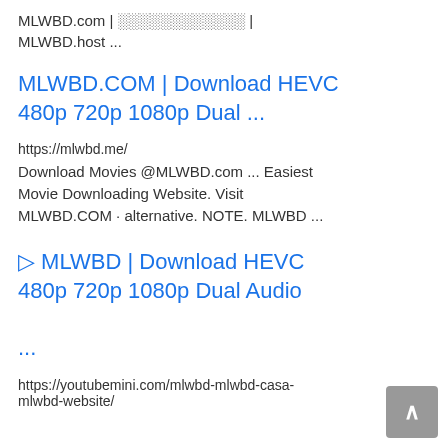MLWBD.com | ░░░░░░░░░░░░ | MLWBD.host ...
MLWBD.COM | Download HEVC 480p 720p 1080p Dual ...
https://mlwbd.me/
Download Movies @MLWBD.com ... Easiest Movie Downloading Website. Visit MLWBD.COM · alternative. NOTE. MLWBD ...
▷ MLWBD | Download HEVC 480p 720p 1080p Dual Audio ...
https://youtubemini.com/mlwbd-mlwbd-casa-mlwbd-website/